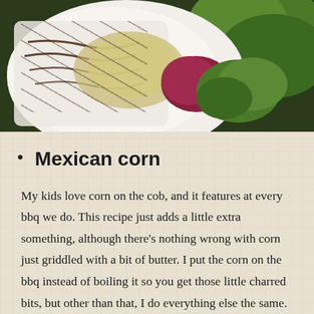[Figure (photo): Photo of a plated dish with green salad leaves, a creamy corn salad mixture, and balsamic drizzle on a white plate, with dark green herb garnish in the background.]
Mexican corn
My kids love corn on the cob, and it features at every bbq we do. This recipe just adds a little extra something, although there's nothing wrong with corn just griddled with a bit of butter. I put the corn on the bbq instead of boiling it so you get those little charred bits, but other than that, I do everything else the same. Mexican corn from My Fussy Easter